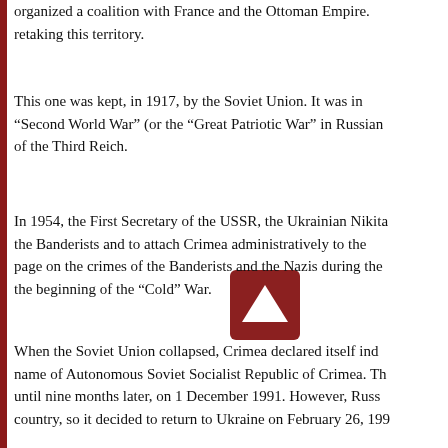organized a coalition with France and the Ottoman Empire. retaking this territory.
This one was kept, in 1917, by the Soviet Union. It was in “Second World War” (or the “Great Patriotic War” in Russian of the Third Reich.
[Figure (other): A dark red/maroon square button with a white upward-pointing triangle arrow in the center, resembling a scroll-up or play button.]
In 1954, the First Secretary of the USSR, the Ukrainian Nikita the Banderists and to attach Crimea administratively to the page on the crimes of the Banderists and the Nazis during the the beginning of the “Cold” War.
When the Soviet Union collapsed, Crimea declared itself ind name of Autonomous Soviet Socialist Republic of Crimea. Th until nine months later, on 1 December 1991. However, Russ country, so it decided to return to Ukraine on February 26, 199